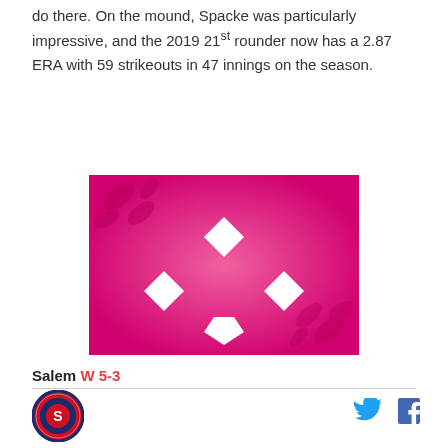do there. On the mound, Spacke was particularly impressive, and the 2019 21st rounder now has a 2.87 ERA with 59 strikeouts in 47 innings on the season.
[Figure (photo): Baseball diamond graphic on bright magenta/pink background with white diamond shapes at the four bases positions and decorative leaf/stitching patterns in the corners.]
Salem W 5-3
[Figure (logo): Salem Red Sox circular team logo with red and navy colors]
[Figure (other): Twitter and Facebook social media icons]